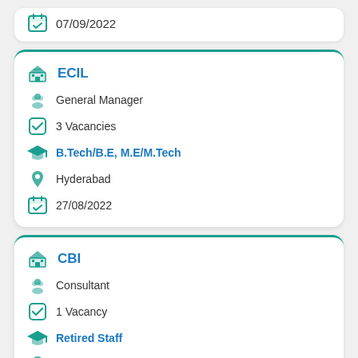07/09/2022
ECIL | General Manager | 3 Vacancies | B.Tech/B.E, M.E/M.Tech | Hyderabad | 27/08/2022
CBI | Consultant | 1 Vacancy | Retired Staff | New Delhi